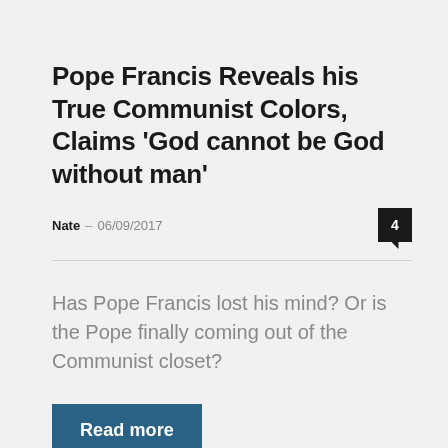Pope Francis Reveals his True Communist Colors, Claims ‘God cannot be God without man’
Nate – 06/09/2017
Has Pope Francis lost his mind? Or is the Pope finally coming out of the Communist closet?
Read more